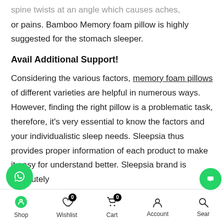spine twists at an angle which causes aches, numbness, or pains. Bamboo Memory foam pillow is highly suggested for the stomach sleeper.
Avail Additional Support!
Considering the various factors, memory foam pillows of different varieties are helpful in numerous ways. However, finding the right pillow is a problematic task, therefore, it's very essential to know the factors and your individualistic sleep needs. Sleepsia thus provides proper information of each product to make it easy for understand better. Sleepsia brand is absolutely
Shop  Wishlist  Cart  Account  Search